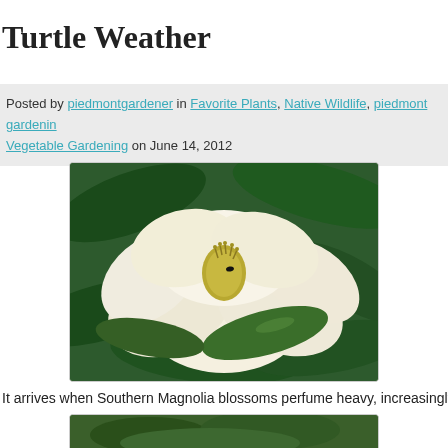Turtle Weather
Posted by piedmontgardener in Favorite Plants, Native Wildlife, piedmont gardening, Vegetable Gardening on June 14, 2012
[Figure (photo): Close-up photograph of a large white Southern Magnolia blossom with yellow-green stamens, surrounded by dark green glossy leaves]
It arrives when Southern Magnolia blossoms perfume heavy, increasingly hot a
[Figure (photo): Partial view of another photograph, showing green foliage, bottom of page]